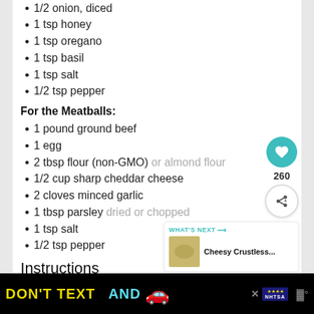1/2 onion, diced
1 tsp honey
1 tsp oregano
1 tsp basil
1 tsp salt
1/2 tsp pepper
For the Meatballs:
1 pound ground beef
1 egg
2 tbsp flour (non-GMO) or almond flour
1/2 cup sharp cheddar cheese
2 cloves minced garlic
1 tbsp parsley dried or chopped
1 tsp salt
1/2 tsp pepper
Instructions
Mix all ingredients for the marinara sauce in